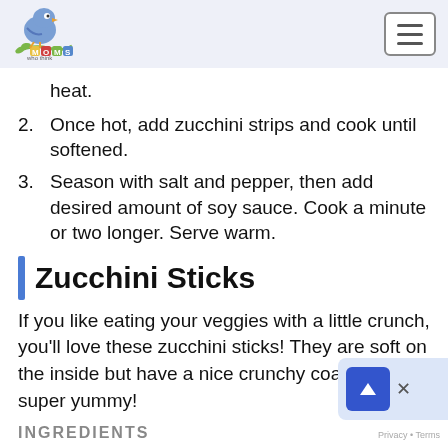Moms Who Think
heat.
2. Once hot, add zucchini strips and cook until softened.
3. Season with salt and pepper, then add desired amount of soy sauce. Cook a minute or two longer. Serve warm.
Zucchini Sticks
If you like eating your veggies with a little crunch, you'll love these zucchini sticks! They are soft on the inside but have a nice crunchy coating that's super yummy!
INGREDIENTS